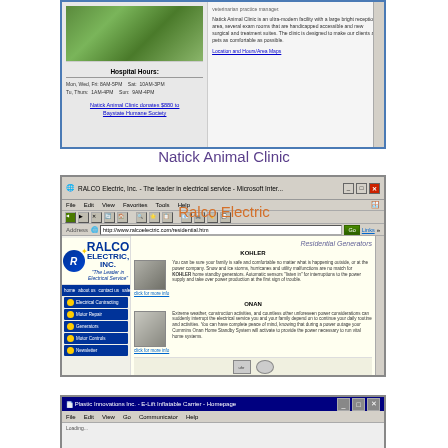[Figure (screenshot): Screenshot of Natick Animal Clinic website showing hospital hours and clinic information with a blue left border. Left panel shows hospital hours table (Mon, Wed, Fri 8AM-5PM; Sat 10AM-3PM; Tu, Thurs 1AM-4PM; Sun 9AM-4PM) and a link 'Natick Animal Clinic donates $880 to Baystate Humane Society'. Right panel shows text description of the clinic.]
Natick Animal Clinic
[Figure (screenshot): Screenshot of RALCO Electric Inc website in Microsoft Internet Explorer browser window. URL: http://www.ralcoelectric.com/residential.htm. Website shows RALCO Electric Inc logo with star, navigation menu (home, about us, contact us, sales, job opps), sidebar navigation buttons (Electrical Contracting, Motor Repair, Generators, Motor Controls, Newsletter), and main content area showing 'Residential Generators' section with KOHLER and ONAN generator products with images and descriptions.]
Ralco Electric
[Figure (screenshot): Screenshot of Plastic Innovations Inc - E-Lift Inflatable Carrier homepage showing browser window with title bar and menu bar partially visible.]